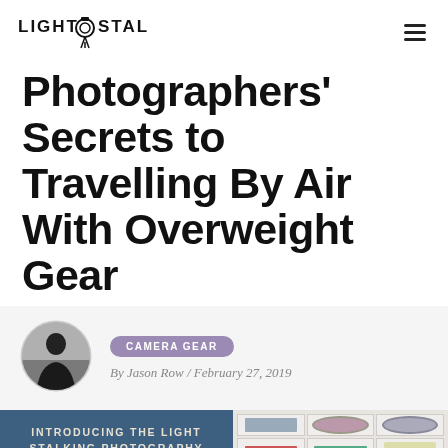LIGHT STALKING
Photographers' Secrets to Travelling By Air With Overweight Gear
CAMERA GEAR
By Jason Row / February 27, 2019
[Figure (infographic): Banner for Introducing the Light Stalking Photography Blueprint Set, showing text on left and sample card images on right]